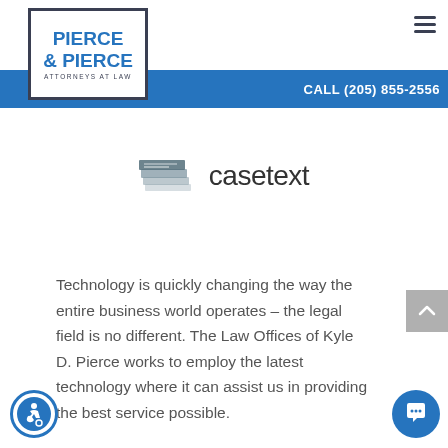[Figure (logo): Pierce & Pierce Attorneys at Law logo in a bordered box with blue lettering]
CALL (205) 855-2556
[Figure (logo): Casetext logo with stacked pages icon and wordmark]
Technology is quickly changing the way the entire business world operates – the legal field is no different. The Law Offices of Kyle D. Pierce works to employ the latest technology where it can assist us in providing the best service possible.